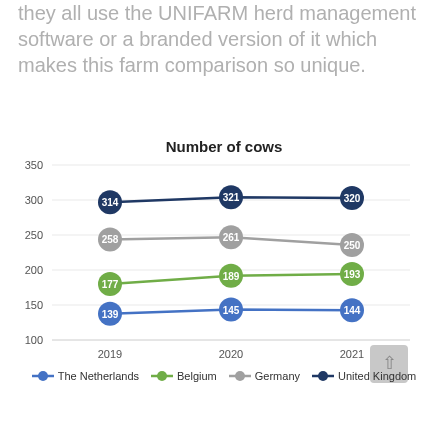they all use the UNIFARM herd management software or a branded version of it which makes this farm comparison so unique.
[Figure (line-chart): Number of cows]